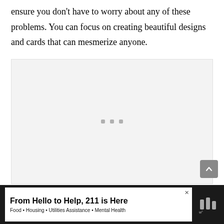ensure you don't have to worry about any of these problems. You can focus on creating beautiful designs and cards that can mesmerize anyone.
[Figure (other): A light gray content placeholder area with three small gray squares centered inside, representing a media or image carousel placeholder with a scroll-to-top button on the right side.]
From Hello to Help, 211 is Here
Food • Housing • Utilities Assistance • Mental Health